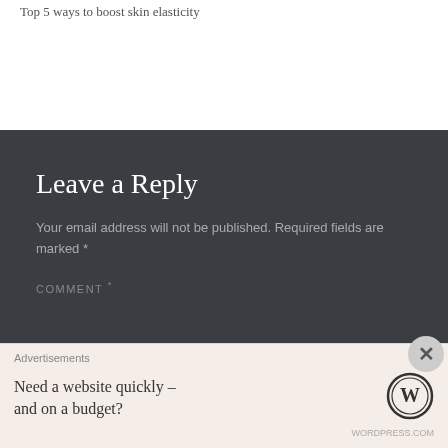Top 5 ways to boost skin elasticity
Leave a Reply
Your email address will not be published. Required fields are marked *
COMMENT *
Advertisements
Need a website quickly – and on a budget?